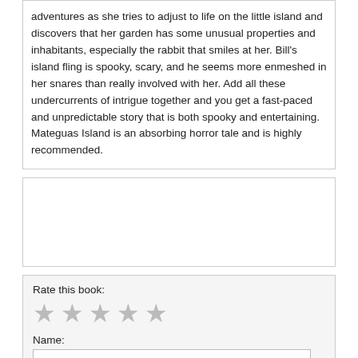adventures as she tries to adjust to life on the little island and discovers that her garden has some unusual properties and inhabitants, especially the rabbit that smiles at her. Bill's island fling is spooky, scary, and he seems more enmeshed in her snares than really involved with her. Add all these undercurrents of intrigue together and you get a fast-paced and unpredictable story that is both spooky and entertaining. Mateguas Island is an absorbing horror tale and is highly recommended.
Rate this book:
[Figure (other): Five gray star icons for rating]
Name:
Comment/Review: